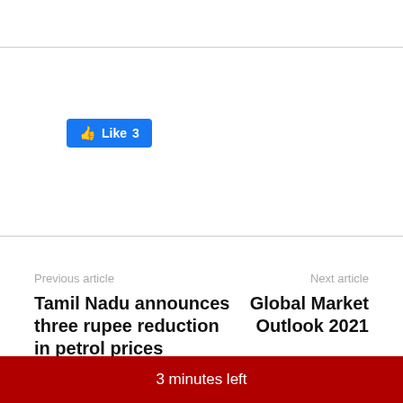[Figure (other): Facebook Like button showing thumbs up icon and count 3]
Previous article
Next article
Tamil Nadu announces three rupee reduction in petrol prices
Global Market Outlook 2021
TPT Bureau
https://thepolicytimes.com
3 minutes left